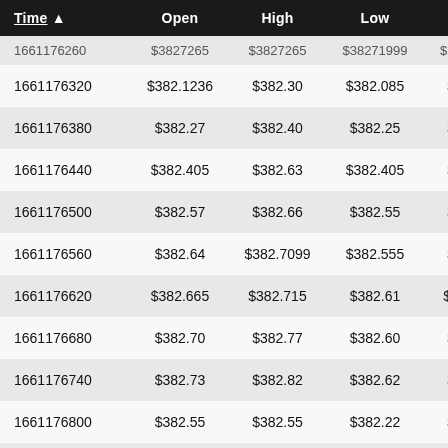| Time ▲ | Open | High | Low | Close | Volum… |
| --- | --- | --- | --- | --- | --- |
| 1661176260 | $3827265 | $3827265 | $38271999 | $38271999 | 3,712… |
| 1661176320 | $382.1236 | $382.30 | $382.085 | $382.30 | 8,907… |
| 1661176380 | $382.27 | $382.40 | $382.25 | $382.40 | 3,598… |
| 1661176440 | $382.405 | $382.63 | $382.405 | $382.51 | 3,115… |
| 1661176500 | $382.57 | $382.66 | $382.55 | $382.65 | 5,963… |
| 1661176560 | $382.64 | $382.7099 | $382.555 | $382.69 | 5,329… |
| 1661176620 | $382.665 | $382.715 | $382.61 | $382.675 | 2,234… |
| 1661176680 | $382.70 | $382.77 | $382.60 | $382.70 | 1,701… |
| 1661176740 | $382.73 | $382.82 | $382.62 | $382.62 | 2,868… |
| 1661176800 | $382.55 | $382.55 | $382.22 | $382.34 | 4,678… |
| 1661176860 | $382.28 | $382.35 | $382.25 | $382.25 | 2,193… |